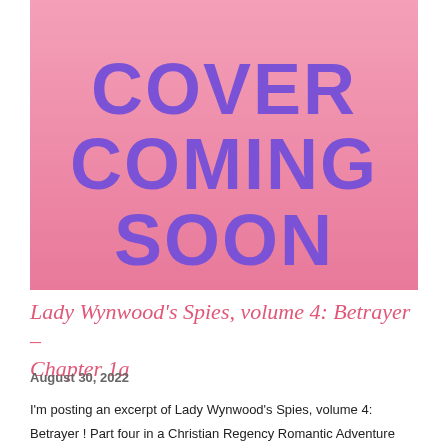[Figure (illustration): Pink gradient background placeholder image with large bold purple text reading 'COVER COMING SOON']
Lady Wynwood's Spies, volume 4: Betrayer – Chapter 1a
August 30, 2022
I'm posting an excerpt of Lady Wynwood's Spies, volume 4: Betrayer ! Part four in a Christian Regency Romantic Adventure